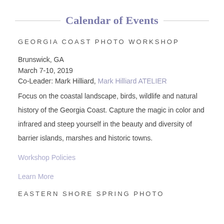Calendar of Events
GEORGIA COAST PHOTO WORKSHOP
Brunswick, GA
March 7-10, 2019
Co-Leader: Mark Hilliard, Mark Hilliard ATELIER
Focus on the coastal landscape, birds, wildlife and natural history of the Georgia Coast. Capture the magic in color and infrared and steep yourself in the beauty and diversity of barrier islands, marshes and historic towns.
Workshop Policies
Learn More
EASTERN SHORE SPRING PHOTO